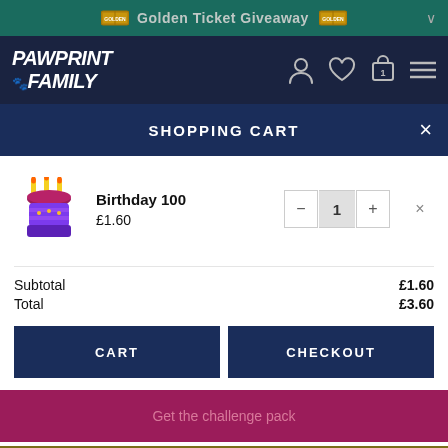Golden Ticket Giveaway
[Figure (logo): Pawprint Family logo with paw icon]
SHOPPING CART
Birthday 100 £1.60
| Item | Name | Price | Qty | Remove |
| --- | --- | --- | --- | --- |
| [cupcake img] | Birthday 100 | £1.60 | 1 | × |
Subtotal £1.60
Total £3.60
CART
CHECKOUT
Get the challenge pack
Show related resources